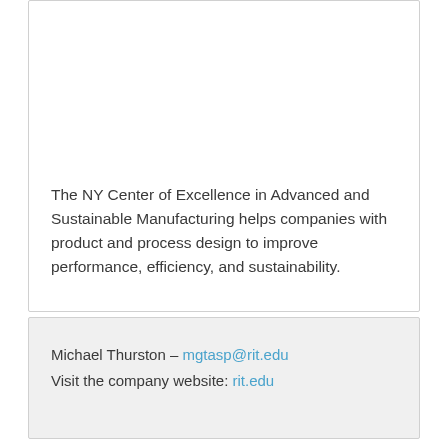The NY Center of Excellence in Advanced and Sustainable Manufacturing helps companies with product and process design to improve performance, efficiency, and sustainability.
Michael Thurston – mgtasp@rit.edu
Visit the company website: rit.edu
Alfred University Center for